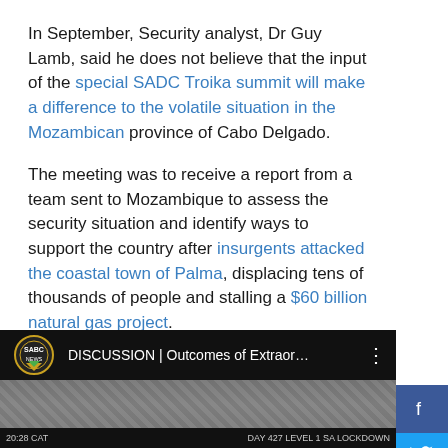In September, Security analyst, Dr Guy Lamb, said he does not believe that the input of the special SADC Troika summit will make a difference to the volatile situation in the Mozambican province of Cabo Delgado.
The meeting was to receive a report from a team sent to Mozambique to assess the security situation and identify ways to support the country after insurgents attacked the coastal town of Palma, displacing tens of thousands of people and stalling a $60 billion natural gas project.
Outcomes of Extraordinary Double Troika SADC Summit on Mozambique:
[Figure (screenshot): SABC News video thumbnail showing 'DISCUSSION | Outcomes of Extraor...' with SABC News logo, timestamp 20:28 CAT, and text DAY 427 LEVEL 1 SA LOCKDOWN]